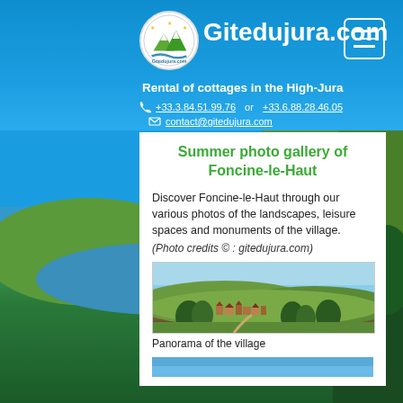Gitedujura.com
Rental of cottages in the High-Jura
+33.3.84.51.99.76   or   +33.6.88.28.46.05
contact@gitedujura.com
Summer photo gallery of Foncine-le-Haut
Discover Foncine-le-Haut through our various photos of the landscapes, leisure spaces and monuments of the village.
(Photo credits © : gitedujura.com)
[Figure (photo): Panorama photo of the village of Foncine-le-Haut showing green hills and village buildings]
Panorama of the village
[Figure (photo): Partial second photo showing blue sky]